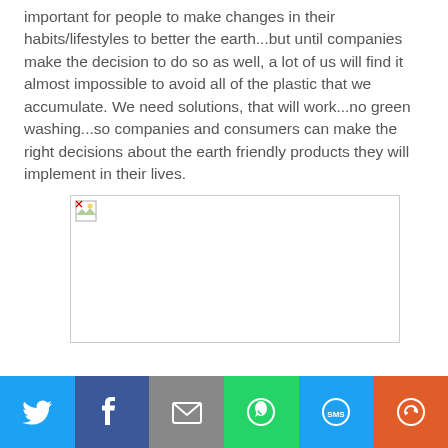important for people to make changes in their habits/lifestyles to better the earth...but until companies make the decision to do so as well, a lot of us will find it almost impossible to avoid all of the plastic that we accumulate. We need solutions, that will work...no green washing...so companies and consumers can make the right decisions about the earth friendly products they will implement in their lives.
[Figure (photo): Broken image placeholder with small broken image icon in top-left corner, white background with gray border]
[Figure (infographic): Social sharing bar with five buttons: Twitter (blue bird icon), Facebook (dark blue f icon), Email (gray envelope icon), WhatsApp (green phone icon), SMS (blue SMS icon), More (orange circular arrows icon)]